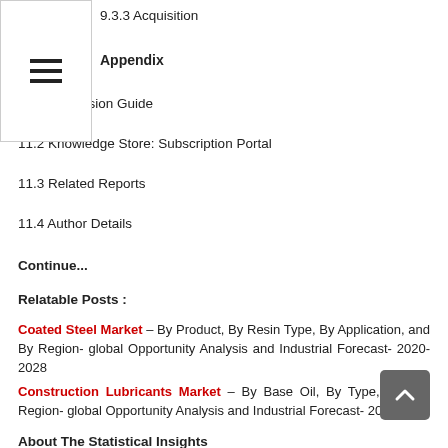9.3.3 Acquisition
Appendix
11.1 Discussion Guide
11.2 Knowledge Store: Subscription Portal
11.3 Related Reports
11.4 Author Details
Continue...
Relatable Posts :
Coated Steel Market – By Product, By Resin Type, By Application, and By Region- global Opportunity Analysis and Industrial Forecast- 2020-2028
Construction Lubricants Market – By Base Oil, By Type, and By Region- global Opportunity Analysis and Industrial Forecast- 2020-2028
About The Statistical Insights